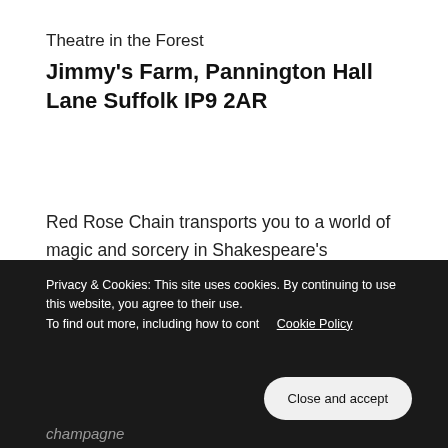Theatre in the Forest
Jimmy's Farm, Pannington Hall Lane Suffolk IP9 2AR
Red Rose Chain transports you to a world of magic and sorcery in Shakespeare's supernatural spectacular, The Tempest. Perfect for all ages whether you're coming alone or bringing the whole family. Shakespeare with a festival feel!
Always remember that the British Summer can
Privacy & Cookies: This site uses cookies. By continuing to use this website, you agree to their use. To find out more, including how to cont… Cookie Policy
Close and accept
champagne